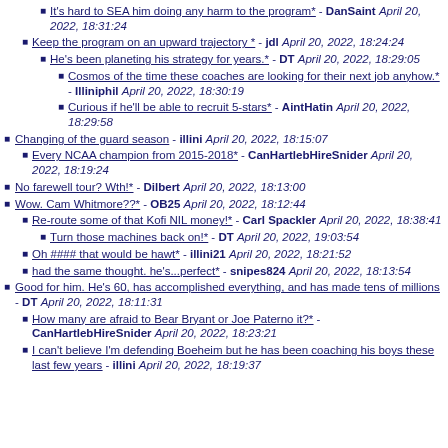It's hard to SEA him doing any harm to the program* - DanSaint April 20, 2022, 18:31:24
Keep the program on an upward trajectory * - jdl April 20, 2022, 18:24:24
He's been planeting his strategy for years.* - DT April 20, 2022, 18:29:05
Cosmos of the time these coaches are looking for their next job anyhow.* - Illiniphil April 20, 2022, 18:30:19
Curious if he'll be able to recruit 5-stars* - AintHatin April 20, 2022, 18:29:58
Changing of the guard season - illini April 20, 2022, 18:15:07
Every NCAA champion from 2015-2018* - CanHartlebHireSnider April 20, 2022, 18:19:24
No farewell tour? Wth!* - Dilbert April 20, 2022, 18:13:00
Wow. Cam Whitmore??* - OB25 April 20, 2022, 18:12:44
Re-route some of that Kofi NIL money!* - Carl Spackler April 20, 2022, 18:38:41
Turn those machines back on!* - DT April 20, 2022, 19:03:54
Oh #### that would be hawt* - illini21 April 20, 2022, 18:21:52
had the same thought. he's...perfect* - snipes824 April 20, 2022, 18:13:54
Good for him. He's 60, has accomplished everything, and has made tens of millions - DT April 20, 2022, 18:11:31
How many are afraid to Bear Bryant or Joe Paterno it?* - CanHartlebHireSnider April 20, 2022, 18:23:21
I can't believe I'm defending Boeheim but he has been coaching his boys these last few years - illini April 20, 2022, 18:19:37